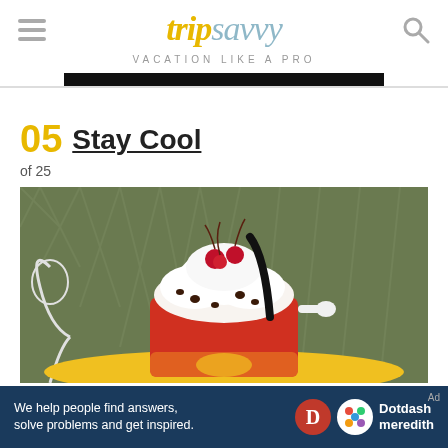tripsavvy VACATION LIKE A PRO
05 Stay Cool
of 25
[Figure (photo): Ice cream sundae in a red Mickey Mouse-shaped container, topped with whipped cream, cherries, chocolate chips, and a black straw, on a yellow table with a white ornate chair in the background.]
We help people find answers, solve problems and get inspired. Dotdash meredith